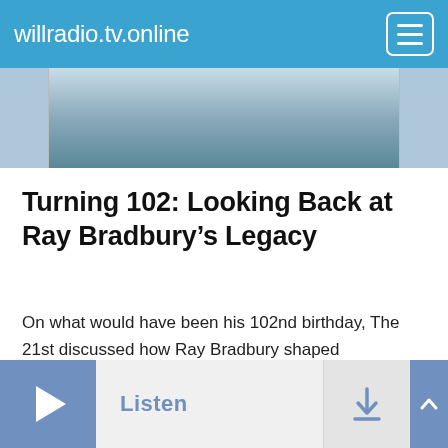willradio.tv.online
[Figure (photo): Partial photo of a person in a blue shirt, cropped at the top]
Turning 102: Looking Back at Ray Bradbury’s Legacy
On what would have been his 102nd birthday, The 21st discussed how Ray Bradbury shaped contemporary literature, space exploration, and his hometown of Waukegan.
[Figure (screenshot): Audio player bar with play button, Listen label, download button, and scroll-to-top button]